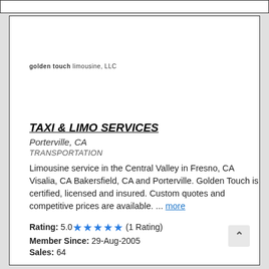golden touch limousine, LLC
TAXI & LIMO SERVICES
Porterville, CA
TRANSPORTATION
Limousine service in the Central Valley in Fresno, CA Visalia, CA Bakersfield, CA and Porterville. Golden Touch is certified, licensed and insured. Custom quotes and competitive prices are available. ... more
Rating: 5.0 ★★★★★ (1 Rating)
Member Since: 29-Aug-2005
Sales: 64